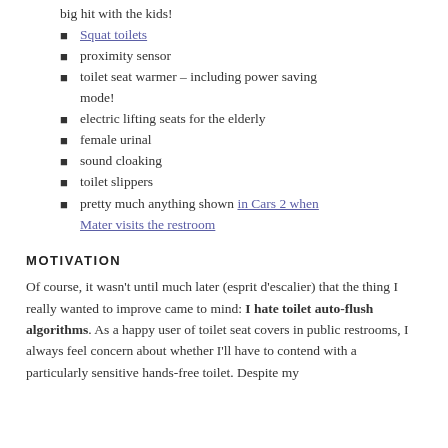big hit with the kids!
Squat toilets
proximity sensor
toilet seat warmer – including power saving mode!
electric lifting seats for the elderly
female urinal
sound cloaking
toilet slippers
pretty much anything shown in Cars 2 when Mater visits the restroom
MOTIVATION
Of course, it wasn't until much later (esprit d'escalier) that the thing I really wanted to improve came to mind: I hate toilet auto-flush algorithms. As a happy user of toilet seat covers in public restrooms, I always feel concern about whether I'll have to contend with a particularly sensitive hands-free toilet. Despite my